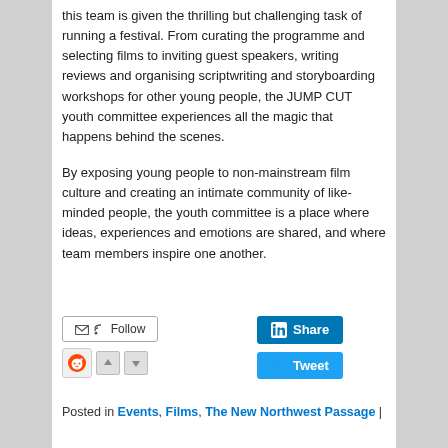this team is given the thrilling but challenging task of running a festival. From curating the programme and selecting films to inviting guest speakers, writing reviews and organising scriptwriting and storyboarding workshops for other young people, the JUMP CUT youth committee experiences all the magic that happens behind the scenes.
By exposing young people to non-mainstream film culture and creating an intimate community of like-minded people, the youth committee is a place where ideas, experiences and emotions are shared, and where team members inspire one another.
Posted in Events, Films, The New Northwest Passage |